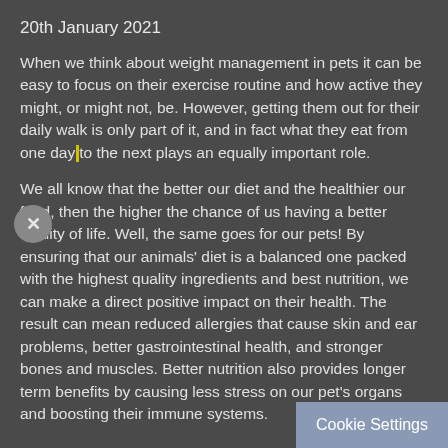20th January 2021
When we think about weight management in pets it can be easy to focus on their exercise routine and how active they might, or might not, be. However, getting them out for their daily walk is only part of it, and in fact what they eat from one day to the next plays an equally important role.
We all know that the better our diet and the healthier our food, then the higher the chance of us having a better quality of life. Well, the same goes for our pets! By ensuring that our animals' diet is a balanced one packed with the highest quality ingredients and best nutrition, we can make a direct positive impact on their health. The result can mean reduced allergies that cause skin and ear problems, better gastrointestinal health, and stronger bones and muscles. Better nutrition also provides longer term benefits by causing less stress on our pet's organs and boosting their immune systems.